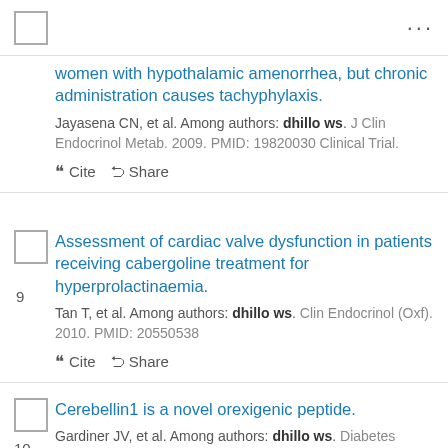women with hypothalamic amenorrhea, but chronic administration causes tachyphylaxis.
Jayasena CN, et al. Among authors: dhillo ws. J Clin Endocrinol Metab. 2009. PMID: 19820030 Clinical Trial.
❝ Cite  Share
Assessment of cardiac valve dysfunction in patients receiving cabergoline treatment for hyperprolactinaemia.
Tan T, et al. Among authors: dhillo ws. Clin Endocrinol (Oxf). 2010. PMID: 20550538
❝ Cite  Share
Cerebellin1 is a novel orexigenic peptide.
Gardiner JV, et al. Among authors: dhillo ws. Diabetes